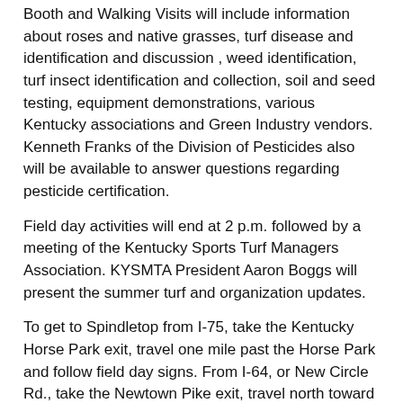Booth and Walking Visits will include information about roses and native grasses, turf disease and identification and discussion , weed identification, turf insect identification and collection, soil and seed testing, equipment demonstrations, various Kentucky associations and Green Industry vendors. Kenneth Franks of the Division of Pesticides also will be available to answer questions regarding pesticide certification.
Field day activities will end at 2 p.m. followed by a meeting of the Kentucky Sports Turf Managers Association. KYSMTA President Aaron Boggs will present the summer turf and organization updates.
To get to Spindletop from I-75, take the Kentucky Horse Park exit, travel one mile past the Horse Park and follow field day signs. From I-64, or New Circle Rd., take the Newtown Pike exit, travel north toward Iron Works Pike, turn left, then follow field day signs.
Contact: A.J. Powell  859-257-5606